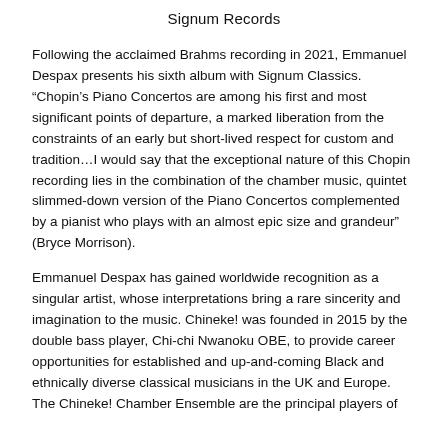Signum Records
Following the acclaimed Brahms recording in 2021, Emmanuel Despax presents his sixth album with Signum Classics. “Chopin’s Piano Concertos are among his first and most significant points of departure, a marked liberation from the constraints of an early but short-lived respect for custom and tradition…I would say that the exceptional nature of this Chopin recording lies in the combination of the chamber music, quintet slimmed-down version of the Piano Concertos complemented by a pianist who plays with an almost epic size and grandeur” (Bryce Morrison).
Emmanuel Despax has gained worldwide recognition as a singular artist, whose interpretations bring a rare sincerity and imagination to the music. Chineke! was founded in 2015 by the double bass player, Chi-chi Nwanoku OBE, to provide career opportunities for established and up-and-coming Black and ethnically diverse classical musicians in the UK and Europe. The Chineke! Chamber Ensemble are the principal players of